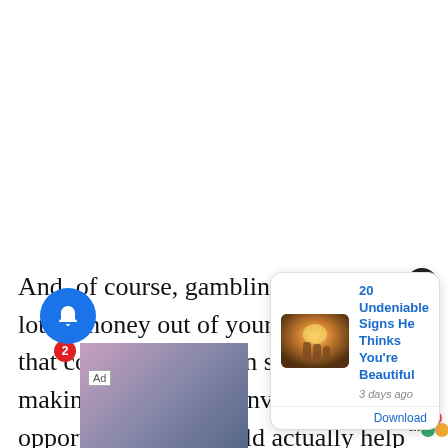And, of course, gambling can suck a lot of money out of your life. Money that couldn't have been spent on making memories or invested in opportunities that could actually help you make money in the
[Figure (screenshot): A notification popup card showing '20 Undeniable Signs He Thinks You're Beautiful' with a thumbnail image and '3 days ago' timestamp, plus a Download link. A blue notification bell with badge '2', an Ad label, and an X close button are also visible.]